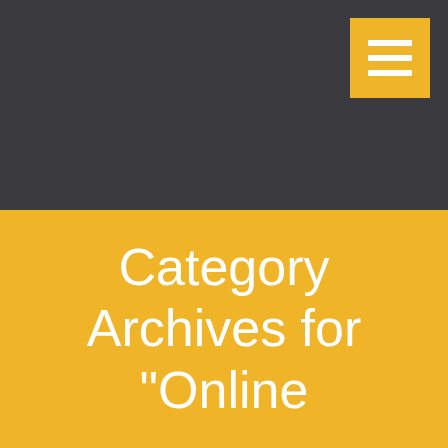[Figure (other): Dark gray header bar with a golden/amber square menu icon in the top-right corner containing three horizontal white lines (hamburger menu icon)]
Category Archives for "Online